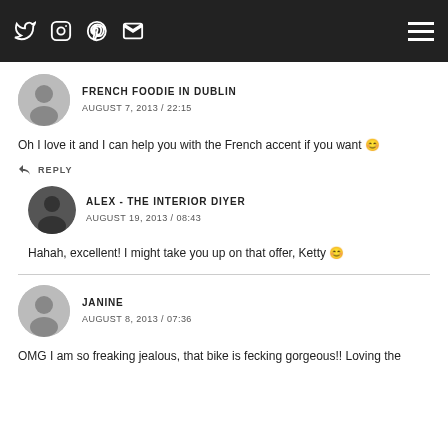Navigation bar with Twitter, Instagram, Pinterest, Email icons and hamburger menu
FRENCH FOODIE IN DUBLIN
AUGUST 7, 2013 / 22:15
Oh I love it and I can help you with the French accent if you want 🙂
REPLY
ALEX - THE INTERIOR DIYER
AUGUST 19, 2013 / 08:43
Hahah, excellent! I might take you up on that offer, Ketty 🙂
JANINE
AUGUST 8, 2013 / 07:36
OMG I am so freaking jealous, that bike is fecking gorgeous!! Loving the